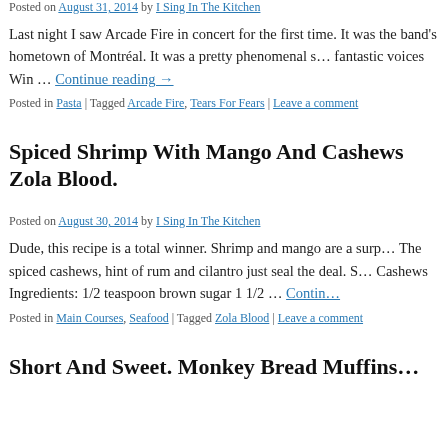Posted on August 31, 2014 by I Sing In The Kitchen
Last night I saw Arcade Fire in concert for the first time. It was the band's hometown of Montréal. It was a pretty phenomenal s… fantastic voices Win … Continue reading →
Posted in Pasta | Tagged Arcade Fire, Tears For Fears | Leave a comment
Spiced Shrimp With Mango And Cashews Zola Blood.
Posted on August 30, 2014 by I Sing In The Kitchen
Dude, this recipe is a total winner. Shrimp and mango are a surp… The spiced cashews, hint of rum and cilantro just seal the deal. S… Cashews Ingredients: 1/2 teaspoon brown sugar 1 1/2 … Contin…
Posted in Main Courses, Seafood | Tagged Zola Blood | Leave a comment
Short And Sweet. Monkey Bread Muffins…